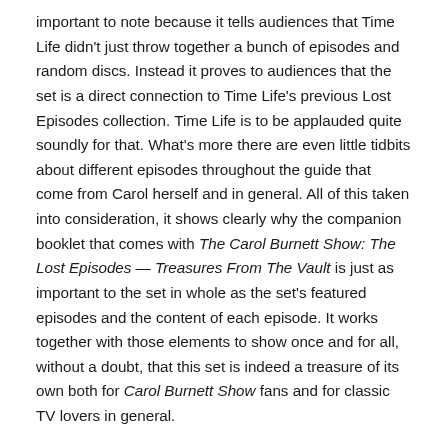important to note because it tells audiences that Time Life didn't just throw together a bunch of episodes and random discs. Instead it proves to audiences that the set is a direct connection to Time Life's previous Lost Episodes collection. Time Life is to be applauded quite soundly for that. What's more there are even little tidbits about different episodes throughout the guide that come from Carol herself and in general. All of this taken into consideration, it shows clearly why the companion booklet that comes with The Carol Burnett Show: The Lost Episodes — Treasures From The Vault is just as important to the set in whole as the set's featured episodes and the content of each episode. It works together with those elements to show once and for all, without a doubt, that this set is indeed a treasure of its own both for Carol Burnett Show fans and for classic TV lovers in general.